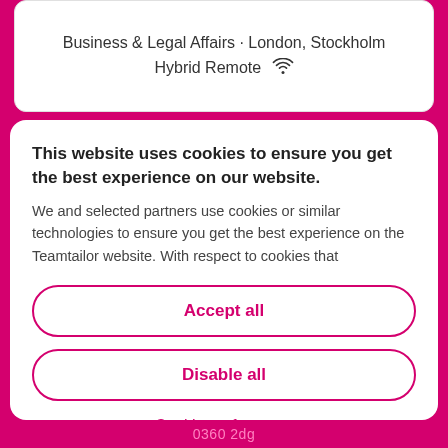Business & Legal Affairs · London, Stockholm
Hybrid Remote
This website uses cookies to ensure you get the best experience on our website.
We and selected partners use cookies or similar technologies to ensure you get the best experience on the Teamtailor website. With respect to cookies that
Accept all
Disable all
Cookie preferences
0360 2dg